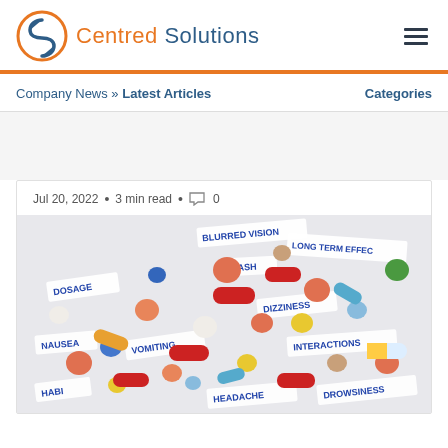Centred Solutions
Company News » Latest Articles
Categories
Jul 20, 2022 • 3 min read • 0
[Figure (photo): Scattered colorful pills and capsules with handwritten paper labels showing medication-related terms: BLURRED VISION, LONG TERM EFFECTS, DOSAGE, RASH, DIZZINESS, NAUSEA, VOMITING, INTERACTIONS, HABIT, HEADACHE, DROWSINESS]